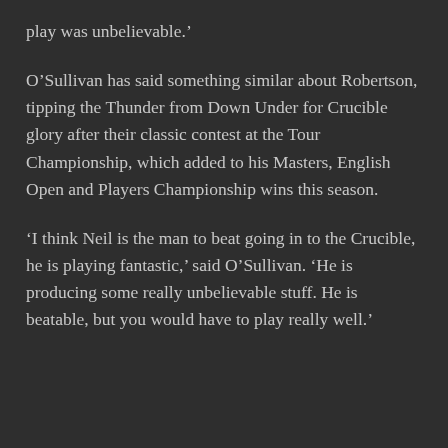play was unbelievable.'
O'Sullivan has said something similar about Robertson, tipping the Thunder from Down Under for Crucible glory after their classic contest at the Tour Championship, which added to his Masters, English Open and Players Championship wins this season.
'I think Neil is the man to beat going in to the Crucible, he is playing fantastic,' said O'Sullivan. 'He is producing some really unbelievable stuff. He is beatable, but you would have to play really well.'